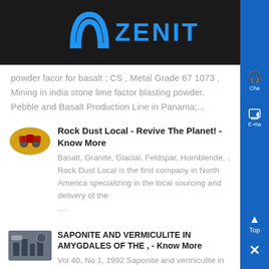ZENIT
powder facor for basalt ; CS , Metal Grade 67 1073 , Mining in india stone lime factor blasting powder, Pebble and Basalt Production Line in Panama;...
Rock Dust Local - Revive The Planet! - Know More
Basalt, Granite, Glacial, Feldspar, Hornblende, , Rock Dust Local is the first company in North America specializing in the local sourcing and delivery of the ....
SAPONITE AND VERMICULITE IN AMYGDALES OF THE , - Know More
Vol 40, No 1, 1992 Saponite and vermiculite in the